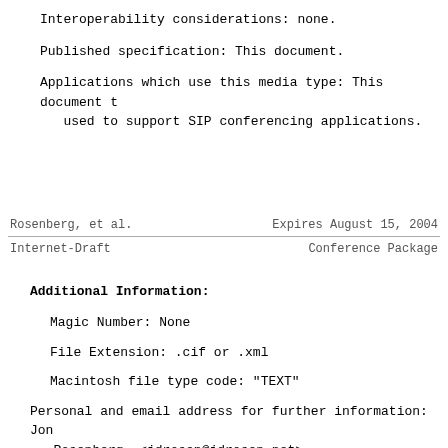Interoperability considerations: none.
Published specification: This document.
Applications which use this media type: This document t
   used to support SIP conferencing applications.
Rosenberg, et al.        Expires August 15, 2004
Internet-Draft                    Conference Package
Additional Information:
Magic Number: None
File Extension: .cif or .xml
Macintosh file type code: "TEXT"
Personal and email address for further information: Jon
   Rosenberg, <jdrosen@jdrosen.net>